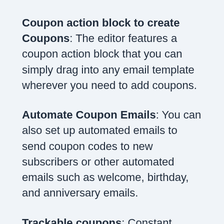Coupon action block to create Coupons: The editor features a coupon action block that you can simply drag into any email template wherever you need to add coupons.
Automate Coupon Emails: You can also set up automated emails to send coupon codes to new subscribers or other automated emails such as welcome, birthday, and anniversary emails.
Trackable coupons: Constant Contact also simplified the tracking and reporting of coupon codes by helping you figure out who